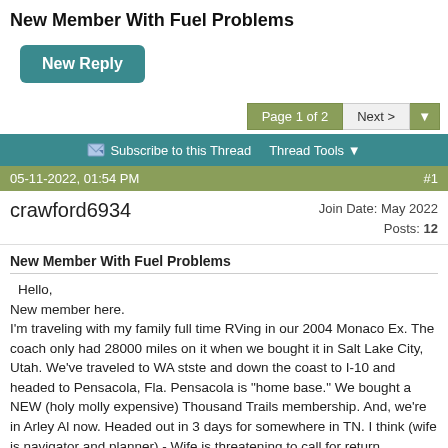New Member With Fuel Problems
New Reply
Page 1 of 2   Next >
Subscribe to this Thread   Thread Tools
05-11-2022, 01:54 PM   #1
crawford6934   Join Date: May 2022  Posts: 12
New Member With Fuel Problems
Hello,
New member here.
I'm traveling with my family full time RVing in our 2004 Monaco Ex. The coach only had 28000 miles on it when we bought it in Salt Lake City, Utah. We've traveled to WA stste and down the coast to I-10 and headed to Pensacola, Fla. Pensacola is "home base." We bought a NEW (holy molly expensive) Thousand Trails membership. And, we're in Arley Al now. Headed out in 3 days for somewhere in TN. I think (wife is navigator and planner) - Wife is threatening to call for return